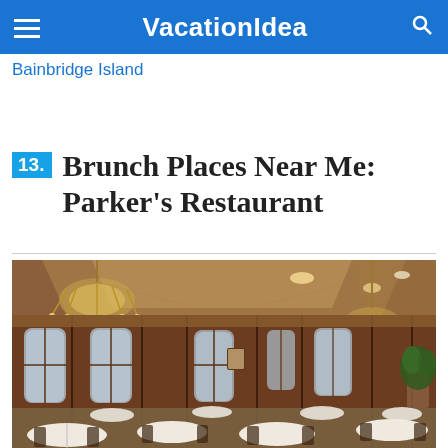VacationIdea
Bainbridge Island
13. Brunch Places Near Me: Parker's Restaurant
[Figure (photo): Interior of Parker's Restaurant showing an elegant dining room with crystal chandeliers, dark wood paneling, arched windows, and white-tablecloth tables set for service.]